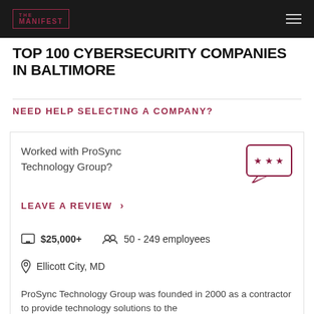THE MANIFEST
TOP 100 CYBERSECURITY COMPANIES IN BALTIMORE
NEED HELP SELECTING A COMPANY?
Worked with ProSync Technology Group?
LEAVE A REVIEW >
$25,000+   50 - 249 employees
Ellicott City, MD
ProSync Technology Group was founded in 2000 as a contractor to provide technology solutions to the